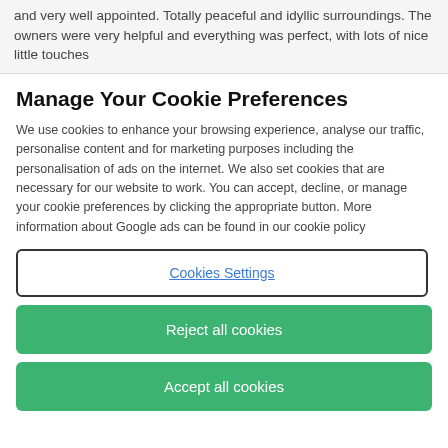and very well appointed. Totally peaceful and idyllic surroundings. The owners were very helpful and everything was perfect, with lots of nice little touches
Manage Your Cookie Preferences
We use cookies to enhance your browsing experience, analyse our traffic, personalise content and for marketing purposes including the personalisation of ads on the internet. We also set cookies that are necessary for our website to work. You can accept, decline, or manage your cookie preferences by clicking the appropriate button. More information about Google ads can be found in our cookie policy
Cookies Settings
Reject all cookies
Accept all cookies